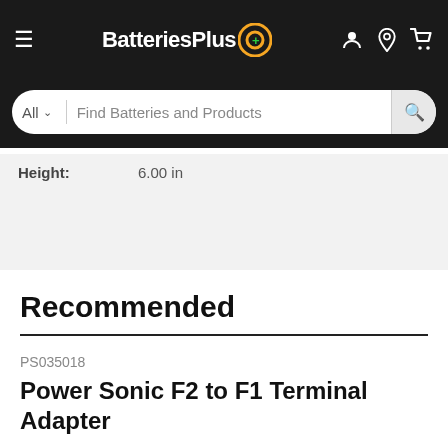BatteriesPlus — Navigation bar with hamburger menu, logo, and icons
All  |  Find Batteries and Products  [search button]
Height: 6.00 in
Recommended
PS035018
Power Sonic F2 to F1 Terminal Adapter
★★★★★ 2 Reviews